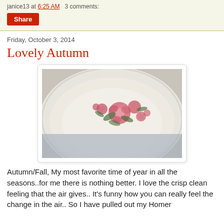janice13 at 6:25 AM   3 comments:
Share
Friday, October 3, 2014
Lovely Autumn
[Figure (photo): A white ceramic plate or bowl with pink rose floral design, sitting on a crocheted doily or lace cloth.]
Autumn/Fall, My most favorite time of year in all the seasons..for me there is nothing better.  I love the crisp clean feeling that the air gives.. It's funny how you can really feel the change in the air.. So I have pulled out my Homer